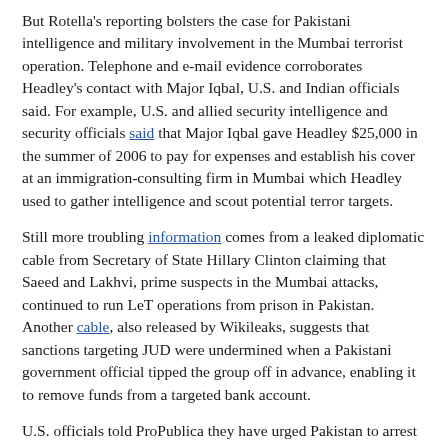But Rotella's reporting bolsters the case for Pakistani intelligence and military involvement in the Mumbai terrorist operation. Telephone and e-mail evidence corroborates Headley's contact with Major Iqbal, U.S. and Indian officials said. For example, U.S. and allied security intelligence and security officials said that Major Iqbal gave Headley $25,000 in the summer of 2006 to pay for expenses and establish his cover at an immigration-consulting firm in Mumbai which Headley used to gather intelligence and scout potential terror targets.
Still more troubling information comes from a leaked diplomatic cable from Secretary of State Hillary Clinton claiming that Saeed and Lakhvi, prime suspects in the Mumbai attacks, continued to run LeT operations from prison in Pakistan. Another cable, also released by Wikileaks, suggests that sanctions targeting JUD were undermined when a Pakistani government official tipped the group off in advance, enabling it to remove funds from a targeted bank account.
U.S. officials told ProPublica they have urged Pakistan to arrest Mir and other suspects in the Mumbai attacks. "We put consistent pressure on the Pakistanis to deal with [LeT] and do so at the highest levels," said a senior counterterrorism official.
But U.S. officials also say that "A U.S. prosecution could implicate Pakistani intelligence chiefs for the country's support...